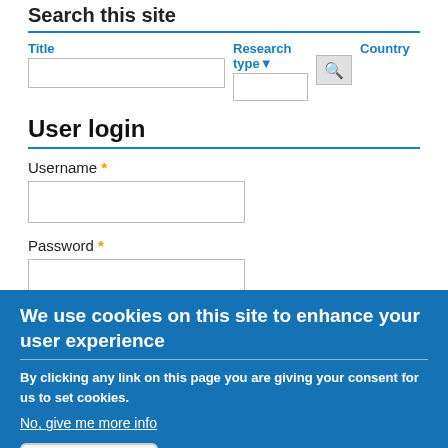Search this site
[Figure (screenshot): Search form with Title input, Research type dropdown, and Country label with search button]
User login
Username *
[Figure (screenshot): Username text input box]
Password *
[Figure (screenshot): Password text input box]
We use cookies on this site to enhance your user experience
By clicking any link on this page you are giving your consent for us to set cookies.
No, give me more info
OK, I agree